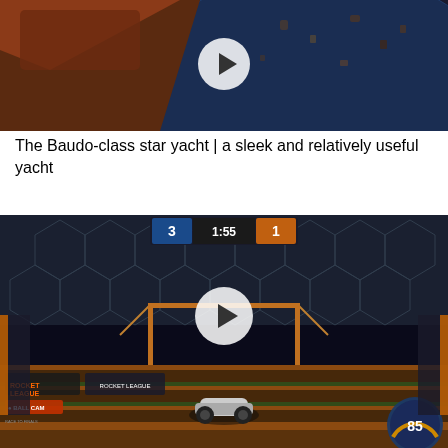[Figure (screenshot): Screenshot of a space/sci-fi scene showing what appears to be a star yacht spacecraft with debris floating in space, with a play button overlay indicating a video thumbnail]
The Baudo-class star yacht | a sleek and relatively useful yacht
[Figure (screenshot): Screenshot of Rocket League video game showing a futuristic soccer arena with a car on an orange and green field, scoreboard showing 3-1 with 1:55 remaining, play button overlay, BALL CAM indicator in bottom left, and speed indicator showing 85 in bottom right]